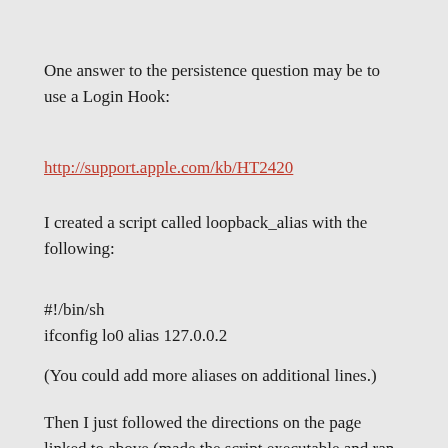One answer to the persistence question may be to use a Login Hook:
http://support.apple.com/kb/HT2420
I created a script called loopback_alias with the following:
#!/bin/sh
ifconfig lo0 alias 127.0.0.2
(You could add more aliases on additional lines.)
Then I just followed the directions on the page linked to above (made the script executable and ran the command they show).